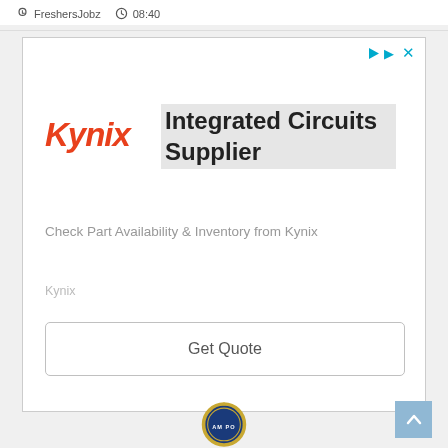FreshersJobz  08:40
[Figure (infographic): Kynix advertisement banner showing Kynix logo in red italic, heading 'Integrated Circuits Supplier', description 'Check Part Availability & Inventory from Kynix', brand name 'Kynix', and a 'Get Quote' button. Ad controls (play and close) in top right.]
[Figure (logo): Partial circular badge/seal visible at bottom center of page, gold rope border, text partially visible 'AM PO']